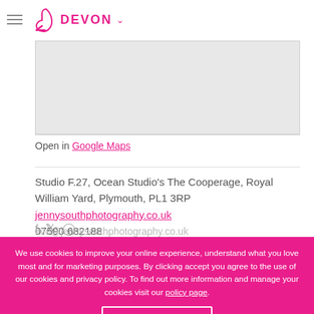DEVON
[Figure (map): Embedded map area placeholder (grey rectangle)]
Open in Google Maps
Studio F.27, Ocean Studio's The Cooperage, Royal William Yard, Plymouth, PL1 3RP
jennysouthphotography.co.uk
07590 682188
info@jennysouthphotography.co.uk
We use cookies to improve your online experience, understand what you love most and for marketing purposes. By clicking accept you agree to the use of our cookies and privacy policy. To find out more information and manage your cookies visit our policy page.